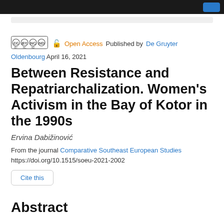[Figure (logo): Creative Commons license badges (CC BY NC ND) with open lock icon]
Open Access  Published by De Gruyter Oldenbourg  April 16, 2021
Between Resistance and Repatriarchalization. Women's Activism in the Bay of Kotor in the 1990s
Ervina Dabižinović
From the journal Comparative Southeast European Studies
https://doi.org/10.1515/soeu-2021-2002
Cite this
Abstract